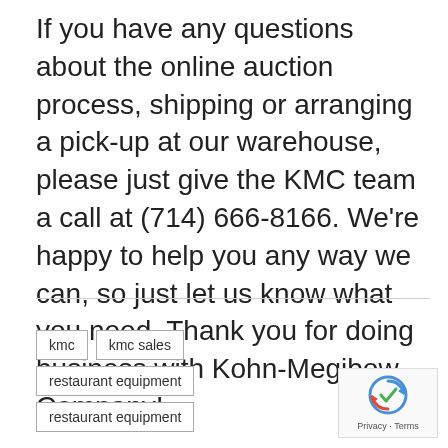If you have any questions about the online auction process, shipping or arranging a pick-up at our warehouse, please just give the KMC team a call at (714) 666-8166. We're happy to help you any way we can, so just let us know what you need. Thank you for doing business with Kohn-Megibow Company!
kmc
kmc sales
restaurant equipment
restaurant equipment